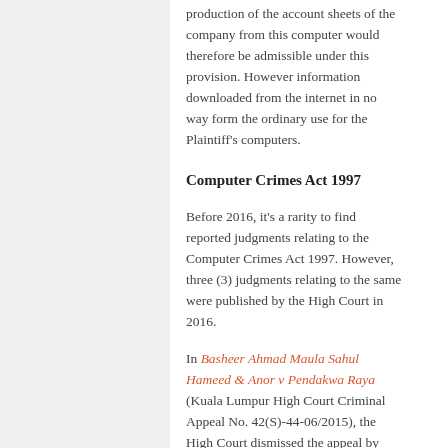production of the account sheets of the company from this computer would therefore be admissible under this provision. However information downloaded from the internet in no way form the ordinary use for the Plaintiff's computers.
Computer Crimes Act 1997
Before 2016, it's a rarity to find reported judgments relating to the Computer Crimes Act 1997. However, three (3) judgments relating to the same were published by the High Court in 2016.
In Basheer Ahmad Maula Sahul Hameed & Anor v Pendakwa Raya (Kuala Lumpur High Court Criminal Appeal No. 42(S)-44-06/2015), the High Court dismissed the appeal by